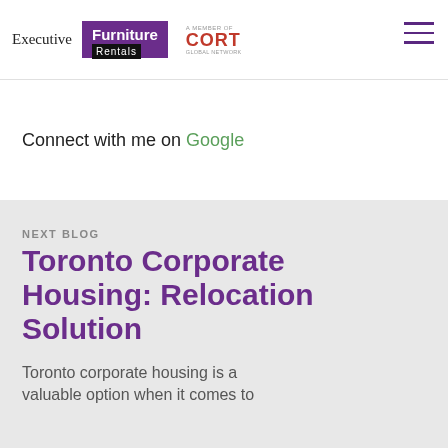Executive Furniture Rentals — a member of CORT Global Network
Connect with me on Google
NEXT BLOG
Toronto Corporate Housing: Relocation Solution
Toronto corporate housing is a valuable option when it comes to